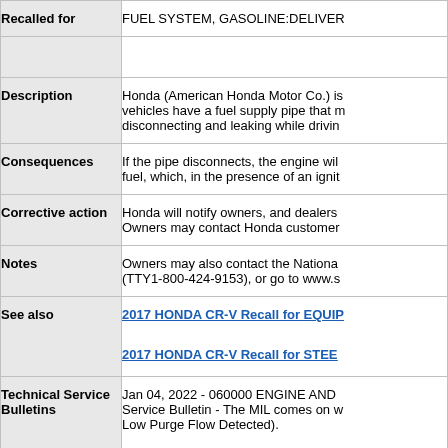| Field | Value |
| --- | --- |
| Recalled for | FUEL SYSTEM, GASOLINE:DELIVER... |
|  |  |
| Description | Honda (American Honda Motor Co.) is... vehicles have a fuel supply pipe that m... disconnecting and leaking while drivin... |
| Consequences | If the pipe disconnects, the engine wil... fuel, which, in the presence of an ignit... |
| Corrective action | Honda will notify owners, and dealers... Owners may contact Honda customer... |
| Notes | Owners may also contact the Nationa... (TTY1-800-424-9153), or go to www.s... |
| See also | 2017 HONDA CR-V Recall for EQUIP...
2017 HONDA CR-V Recall for STEE... |
| Technical Service Bulletins | Jan 04, 2022 - 060000 ENGINE AND... Service Bulletin - The MIL comes on w... Low Purge Flow Detected).

Jan 04, 2022 - 110000 ELECTRICAL... Service Bulletin - The MIL comes on w... Low Purge Flow Detected).

Nov 23, 2021 - 120000 VISIBILITY... |